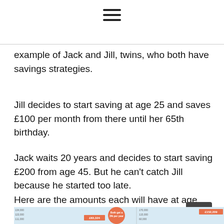☰
example of Jack and Jill, twins, who both have savings strategies.
Jill decides to start saving at age 25 and saves £100 per month from there until her 65th birthday.
Jack waits 20 years and decides to start saving £200 from age 45. But he can't catch Jill because he started too late.
Here are the amounts each will have at age 65:
[Figure (line-chart): Chart showing compound savings growth for Jack and Jill over time, with Jill reaching £152,209 and Jack reaching £83,324. Both get 3% per year.]